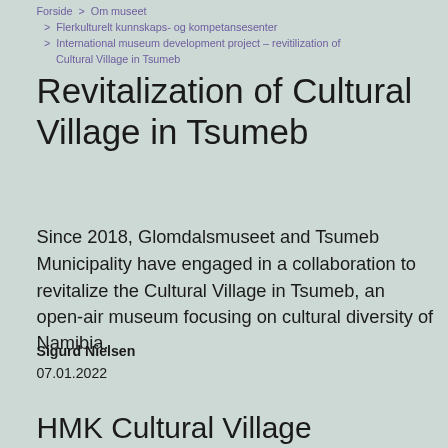Forside > Om museet > Flerkulturelt kunnskaps- og kompetansesenter > International museum development project – revitilization of Cultural Village in Tsumeb
Revitalization of Cultural Village in Tsumeb
Since 2018, Glomdalsmuseet and Tsumeb Municipality have engaged in a collaboration to revitalize the Cultural Village in Tsumeb, an open-air museum focusing on cultural diversity of Namibia.
Sigurd Nielsen
07.01.2022
HMK Cultural Village